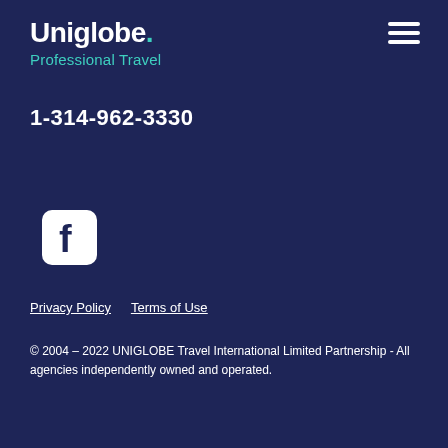Uniglobe. Professional Travel
1-314-962-3330
[Figure (logo): Facebook logo icon — white rounded square with white 'f' letterform]
Privacy Policy   Terms of Use
© 2004 – 2022 UNIGLOBE Travel International Limited Partnership - All agencies independently owned and operated.